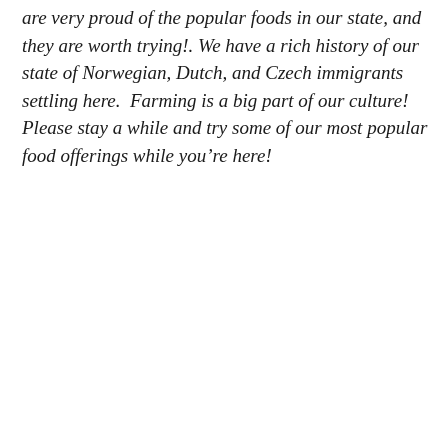are very proud of the popular foods in our state, and they are worth trying!. We have a rich history of our state of Norwegian, Dutch, and Czech immigrants settling here.  Farming is a big part of our culture! Please stay a while and try some of our most popular food offerings while you're here!